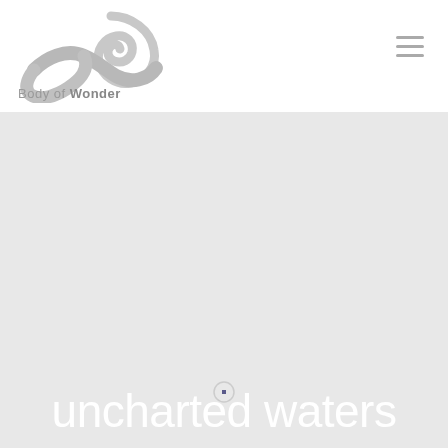[Figure (logo): Body of Wonder logo — a grey swirling wave/infinity symbol above the text 'Body of Wonder']
[Figure (other): Hamburger menu icon (three horizontal lines) in grey, positioned top-right]
[Figure (other): Light grey hero background with a small loading spinner dot in the center]
uncharted waters